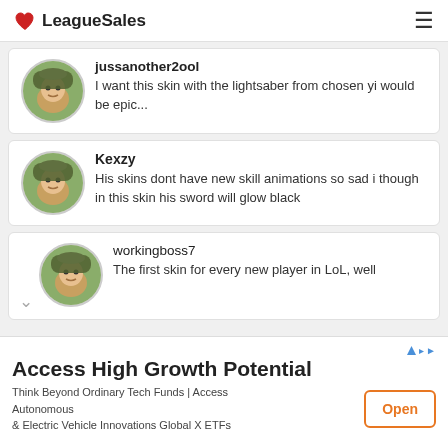LeagueSales
jussanother2ool
I want this skin with the lightsaber from chosen yi would be epic...
Kexzy
His skins dont have new skill animations so sad i though in this skin his sword will glow black
workingboss7
The first skin for every new player in LoL, well
Access High Growth Potential
Think Beyond Ordinary Tech Funds | Access Autonomous & Electric Vehicle Innovations Global X ETFs
Open